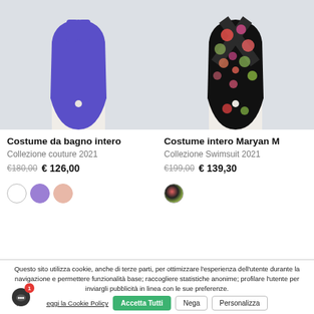[Figure (photo): Blue one-piece swimsuit on a mannequin, left product column]
Costume da bagno intero
Collezione couture 2021
€180,00 € 126,00
[Figure (photo): Floral one-piece swimsuit on a mannequin, right product column]
Costume intero Maryan M
Collezione Swimsuit 2021
€199,00 € 139,30
Questo sito utilizza cookie, anche di terze parti, per ottimizzare l'esperienza dell'utente durante la navigazione e permettere funzionalità base; raccogliere statistiche anonime; profilare l'utente per inviargli pubblicità in linea con le sue preferenze.
Leggi la Cookie Policy
Accetta Tutti
Nega
Personalizza